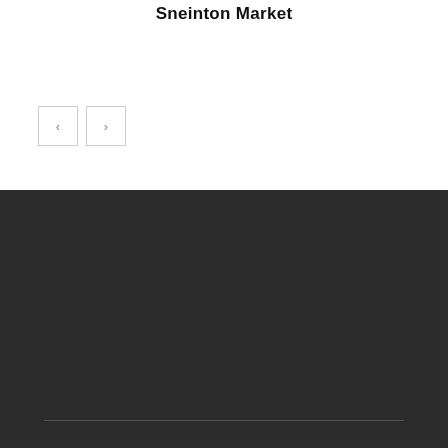Sneinton Market
[Figure (other): Navigation buttons with left and right arrows]
ABOUT US
This website features news and content produced by second and third year students on Nottingham Trent University's Broadcast Journalism (Hons) degree course. The course, based in the Centre for Broadcasting and Journalism (which is